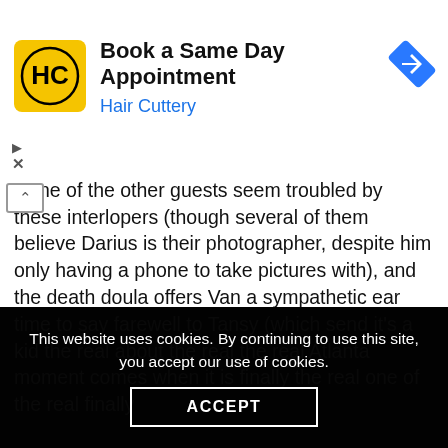[Figure (advertisement): Hair Cuttery advertisement banner with logo and 'Book a Same Day Appointment' text]
None of the other guests seem troubled by these interlopers (though several of them believe Darius is their photographer, despite him only having a phone to take pictures with), and the death doula offers Van a sympathetic ear and the unexpected — but not wholly unwelcome — notion of her and Darius as a couple. (This is yet another separate adventure they've gone on, along with the Drake house party episode from Season Two.) But the real Atlanta moment comes when it is finally
This website uses cookies. By continuing to use this site, you accept our use of cookies.
ACCEPT